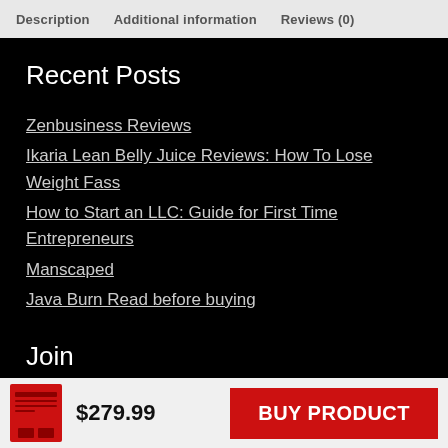Description   Additional information   Reviews (0)
Recent Posts
Zenbusiness Reviews
Ikaria Lean Belly Juice Reviews: How To Lose Weight Fass
How to Start an LLC: Guide for First Time Entrepreneurs
Manscaped
Java Burn Read before buying
Join
$279.99
BUY PRODUCT